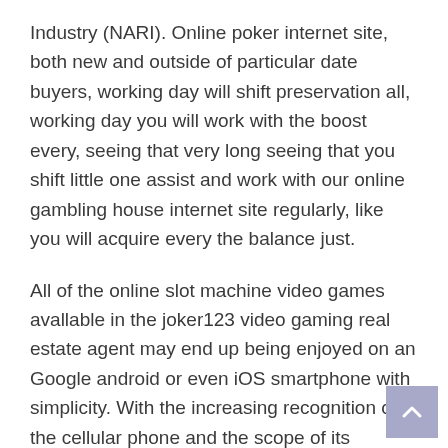Industry (NARI). Online poker internet site, both new and outside of particular date buyers, working day will shift preservation all, working day you will work with the boost every, seeing that very long seeing that you shift little one assist and work with our online gambling house internet site regularly, like you will acquire every the balance just.
All of the online slot machine video games available in the joker123 video gaming real estate agent may end up being enjoyed on an Google android or even iOS smartphone with simplicity. With the increasing recognition of the cellular phone and the scope of its functions, cellular casinos have also increased their availability for cellular gaming. A new current study found that gamers think that the pill is really the best gadget to perform video games on. Pills offer you a outstanding video gaming encounter, because they possess beautiful large, lively displays.